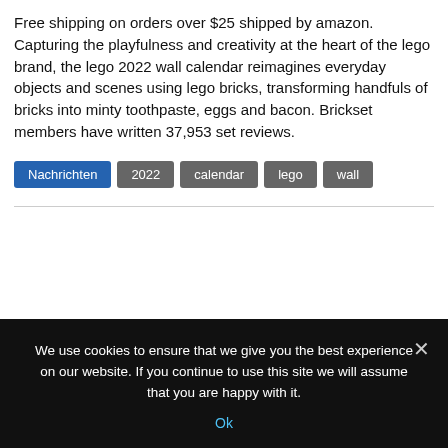Free shipping on orders over $25 shipped by amazon. Capturing the playfulness and creativity at the heart of the lego brand, the lego 2022 wall calendar reimagines everyday objects and scenes using lego bricks, transforming handfuls of bricks into minty toothpaste, eggs and bacon. Brickset members have written 37,953 set reviews.
Nachrichten
2022
calendar
lego
wall
We use cookies to ensure that we give you the best experience on our website. If you continue to use this site we will assume that you are happy with it.